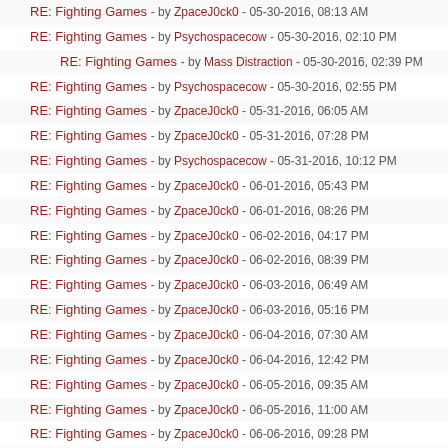RE: Fighting Games - by BumblebeeCody - 05-30-2016, 08:13 AM
RE: Fighting Games - by Psychospacecow - 05-30-2016, 02:10 PM
RE: Fighting Games - by Mass Distraction - 05-30-2016, 02:39 PM
RE: Fighting Games - by Psychospacecow - 05-30-2016, 02:55 PM
RE: Fighting Games - by ZpaceJ0ck0 - 05-31-2016, 06:05 AM
RE: Fighting Games - by ZpaceJ0ck0 - 05-31-2016, 07:28 PM
RE: Fighting Games - by Psychospacecow - 05-31-2016, 10:12 PM
RE: Fighting Games - by ZpaceJ0ck0 - 06-01-2016, 05:43 PM
RE: Fighting Games - by ZpaceJ0ck0 - 06-01-2016, 08:26 PM
RE: Fighting Games - by ZpaceJ0ck0 - 06-02-2016, 04:17 PM
RE: Fighting Games - by ZpaceJ0ck0 - 06-02-2016, 08:39 PM
RE: Fighting Games - by ZpaceJ0ck0 - 06-03-2016, 06:49 AM
RE: Fighting Games - by ZpaceJ0ck0 - 06-03-2016, 05:16 PM
RE: Fighting Games - by ZpaceJ0ck0 - 06-04-2016, 07:30 AM
RE: Fighting Games - by ZpaceJ0ck0 - 06-04-2016, 12:42 PM
RE: Fighting Games - by ZpaceJ0ck0 - 06-05-2016, 09:35 AM
RE: Fighting Games - by ZpaceJ0ck0 - 06-05-2016, 11:00 AM
RE: Fighting Games - by ZpaceJ0ck0 - 06-06-2016, 09:28 PM
RE: Fighting Games - by BumblebeeCody - 06-07-2016, 04:34 PM
RE: Fighting Games - by ZpaceJ0ck0 - 06-07-2016, 06:27 PM
RE: Fighting Games - by BumblebeeCody - 06-08-2016, 01:41 PM
RE: Fighting Games - by ZpaceJ0ck0 - 06-09-2016, 01:52 PM
RE: Fighting Games - by ZpaceJ0ck0 - 06-09-2016, 08:39 PM
RE: Fighting Games - by ZpaceJ0ck0 - 06-09-2016, 09:51 PM